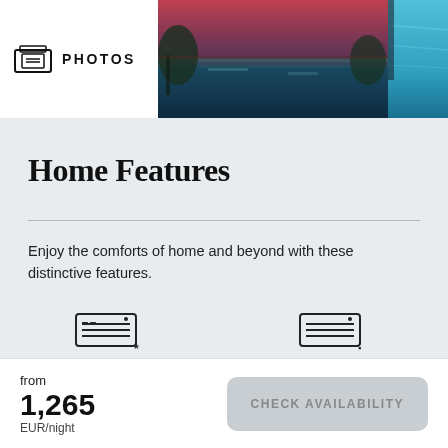[Figure (photo): Top photo strip showing luxury pool area with evening lighting and water feature; white label box with camera icon and PHOTOS text on the left; two pool photos on the right]
Home Features
Enjoy the comforts of home and beyond with these distinctive features.
[Figure (illustration): Air Conditioning unit icon — rectangular box with horizontal lines and asterisk symbol]
Air Conditioning
[Figure (illustration): Heating unit icon — rectangular box with horizontal lines and small symbol]
Heating
from
1,265
EUR/night
CHECK AVAILABILITY